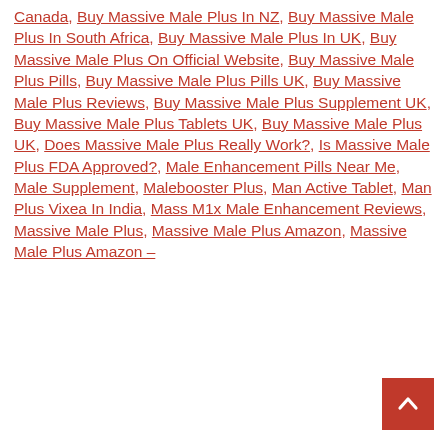Canada, Buy Massive Male Plus In NZ, Buy Massive Male Plus In South Africa, Buy Massive Male Plus In UK, Buy Massive Male Plus On Official Website, Buy Massive Male Plus Pills, Buy Massive Male Plus Pills UK, Buy Massive Male Plus Reviews, Buy Massive Male Plus Supplement UK, Buy Massive Male Plus Tablets UK, Buy Massive Male Plus UK, Does Massive Male Plus Really Work?, Is Massive Male Plus FDA Approved?, Male Enhancement Pills Near Me, Male Supplement, Malebooster Plus, Man Active Tablet, Man Plus Vixea In India, Mass M1x Male Enhancement Reviews, Massive Male Plus, Massive Male Plus Amazon, Massive Male Plus Amazon –
[Figure (other): Back to top button - red square with white upward chevron arrow]